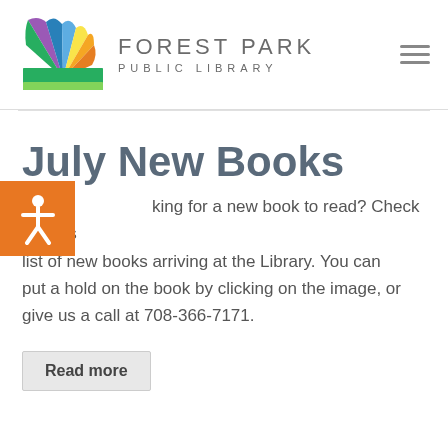[Figure (logo): Forest Park Public Library logo with colorful fan/leaf graphic and text 'FOREST PARK PUBLIC LIBRARY']
July New Books
[Figure (other): Orange accessibility icon button with white person figure (wheelchair/accessibility symbol)]
king for a new book to read? Check out this list of new books arriving at the Library. You can put a hold on the book by clicking on the image, or give us a call at 708-366-7171.
Read more